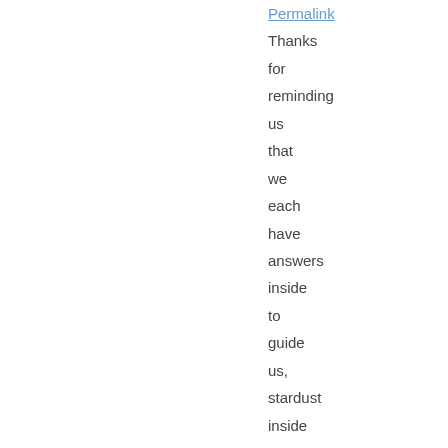Permalink
Thanks for reminding us that we each have answers inside to guide us, stardust inside to build our dreams, and courage inside to try